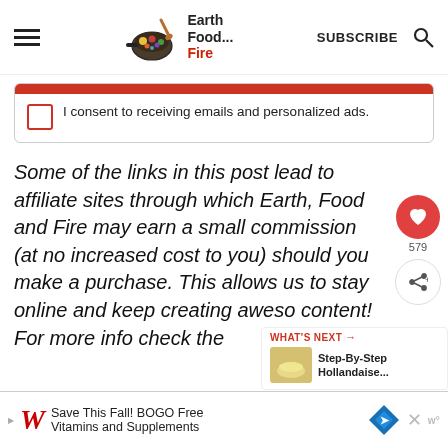Earth Food and Fire — SUBSCRIBE
I consent to receiving emails and personalized ads.
Some of the links in this post lead to affiliate sites through which Earth, Food and Fire may earn a small commission (at no increased cost to you) should you make a purchase. This allows us to stay online and keep creating awesome content! For more info check the
WHAT'S NEXT → Step-By-Step Hollandaise...
Save This Fall! BOGO Free Vitamins and Supplements